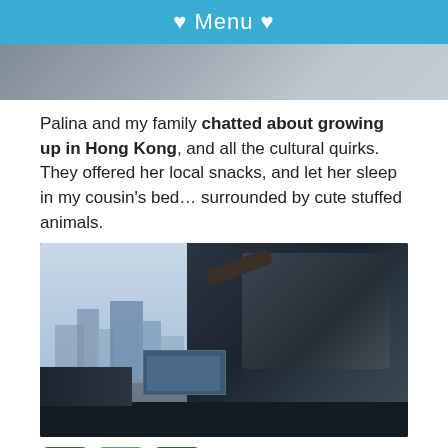♥ Menu ♥
[Figure (photo): Top portion of a photo, partially cropped, showing light-colored blurry background]
Palina and my family chatted about growing up in Hong Kong, and all the cultural quirks. They offered her local snacks, and let her sleep in my cousin's bed… surrounded by cute stuffed animals.
[Figure (photo): A professional camera rig with mechanical arm and monitor in the foreground, with a blurred Hong Kong skyline visible through a window in the background]
[Figure (other): Social media sharing icons: Facebook (blue), Twitter (light blue), Pinterest (red), LinkedIn (blue)]